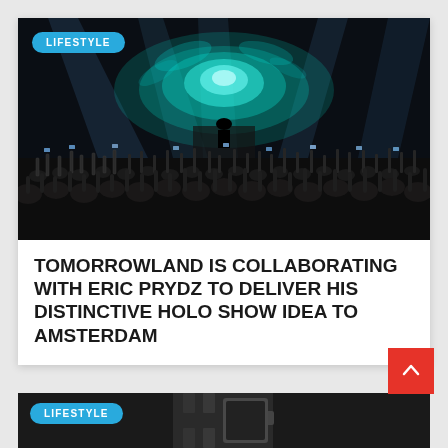[Figure (photo): Concert crowd with hands raised and phones out, large teal holographic explosion effect above a DJ on stage, dramatic stage lighting]
LIFESTYLE
TOMORROWLAND IS COLLABORATING WITH ERIC PRYDZ TO DELIVER HIS DISTINCTIVE HOLO SHOW IDEA TO AMSTERDAM
[Figure (photo): Partial view of a watch on dark background with LIFESTYLE badge overlay]